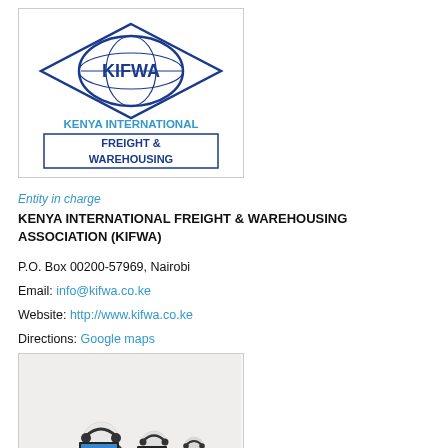[Figure (logo): KIFWA logo - Kenya International Freight & Warehousing Association logo with eye/diamond graphic and blue text]
Entity in charge
KENYA INTERNATIONAL FREIGHT & WAREHOUSING ASSOCIATION (KIFWA)
P.O. Box 00200-57969, Nairobi
Email: info@kifwa.co.ke
Website: http://www.kifwa.co.ke
Directions: Google maps
[Figure (illustration): Three white humanoid figures wearing headsets, sitting at laptops in a call center setting]
Unit in charge